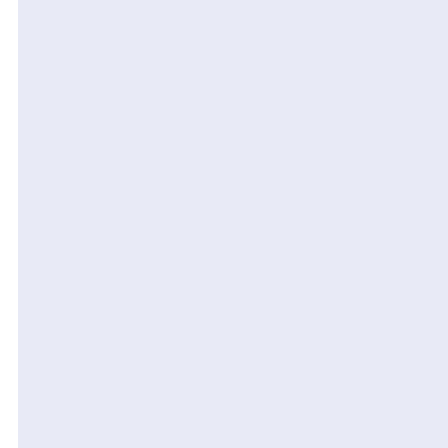[Figure (other): Blue-tinted chart area panel (left portion of a larger scrollable chart, content not visible in this crop)]
April
March
February
January
December
November
October
September
August
July
June
May
April
March
February
January
December
November
October
September
August
July
June
May
April
March
February
January
December
November
October
September
August